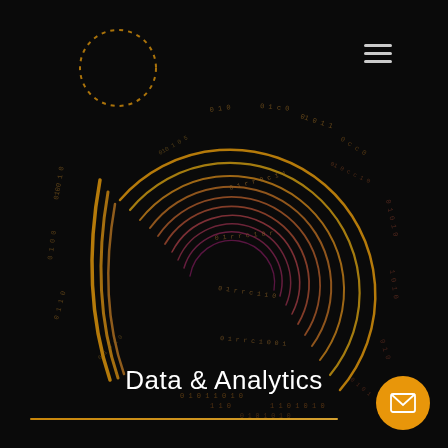[Figure (infographic): Data analytics decorative illustration: concentric spiral rings in gold-to-crimson gradient with binary code text (0s and 1s) arranged in circular patterns around and within the rings, on a black background. A dashed circle outline appears in the upper left corner.]
Data & Analytics
[Figure (other): Orange circular mail/envelope button in bottom right corner]